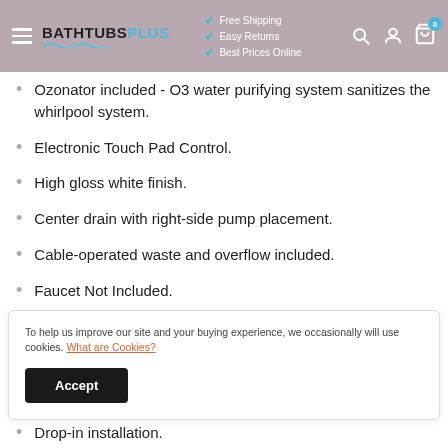BATHTUBS PLUS | Free Shipping | Easy Returns | Best Prices Online
Ozonator included - O3 water purifying system sanitizes the whirlpool system.
Electronic Touch Pad Control.
High gloss white finish.
Center drain with right-side pump placement.
Cable-operated waste and overflow included.
Faucet Not Included.
One-piece, acrylic construction with non-porous surface for
To help us improve our site and your buying experience, we occasionally will use cookies. What are Cookies?
Drop-in installation.